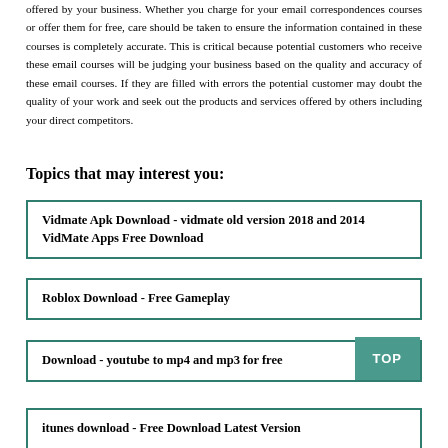offered by your business. Whether you charge for your email correspondences courses or offer them for free, care should be taken to ensure the information contained in these courses is completely accurate. This is critical because potential customers who receive these email courses will be judging your business based on the quality and accuracy of these email courses. If they are filled with errors the potential customer may doubt the quality of your work and seek out the products and services offered by others including your direct competitors.
Topics that may interest you:
Vidmate Apk Download - vidmate old version 2018 and 2014 VidMate Apps Free Download
Roblox Download - Free Gameplay
Download - youtube to mp4 and mp3 for free
itunes download - Free Download Latest Version